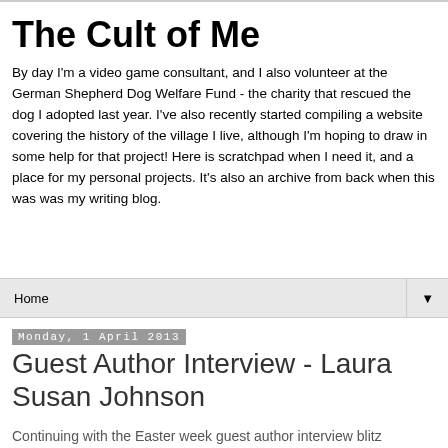The Cult of Me
By day I'm a video game consultant, and I also volunteer at the German Shepherd Dog Welfare Fund - the charity that rescued the dog I adopted last year. I've also recently started compiling a website covering the history of the village I live, although I'm hoping to draw in some help for that project! Here is scratchpad when I need it, and a place for my personal projects. It's also an archive from back when this was was my writing blog.
Home ▼
Monday, 1 April 2013
Guest Author Interview - Laura Susan Johnson
Continuing with the Easter week guest author interview blitz